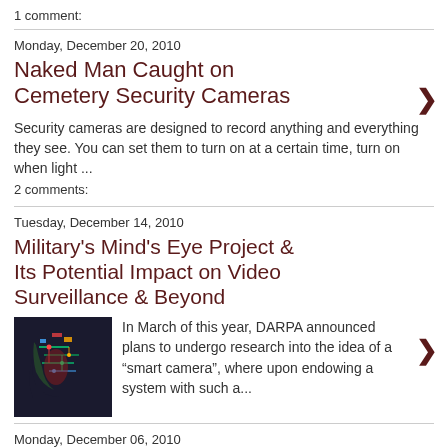1 comment:
Monday, December 20, 2010
Naked Man Caught on Cemetery Security Cameras
Security cameras are designed to record anything and everything they see. You can set them to turn on at a certain time, turn on when light ...
2 comments:
Tuesday, December 14, 2010
Military's Mind's Eye Project & Its Potential Impact on Video Surveillance & Beyond
[Figure (photo): A digital illustration of a human head profile filled with circuit board and technology imagery, representing artificial intelligence or smart computing.]
In March of this year, DARPA announced plans to undergo research into the idea of a “smart camera”, where upon endowing a system with such a...
Monday, December 06, 2010